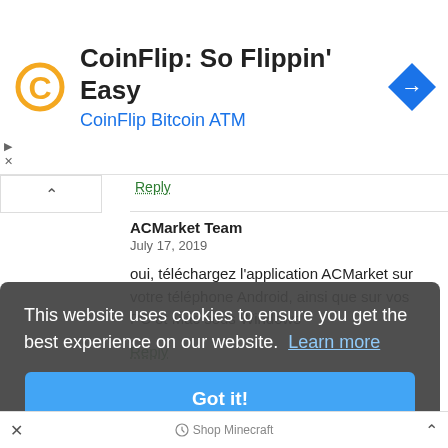[Figure (screenshot): Ad banner for CoinFlip Bitcoin ATM with orange C logo, navigation arrow icon, title 'CoinFlip: So Flippin' Easy' and subtitle 'CoinFlip Bitcoin ATM']
Reply
ACMarket Team
July 17, 2019

oui, téléchargez l'application ACMarket sur votre téléphone Android, ainsi que sur vos PC et Mac sous Windows

Reply
Hasan
This website uses cookies to ensure you get the best experience on our website.  Learn more
Got it!